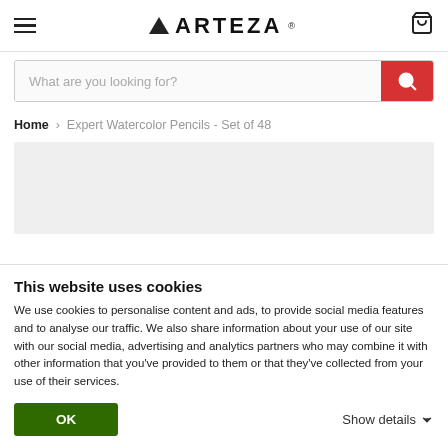ARTEZA
What are you looking for?
Home > Expert Watercolor Pencils - Set of 48
[Figure (other): Product image placeholder area (light grey rectangle)]
This website uses cookies
We use cookies to personalise content and ads, to provide social media features and to analyse our traffic. We also share information about your use of our site with our social media, advertising and analytics partners who may combine it with other information that you've provided to them or that they've collected from your use of their services.
OK
Show details